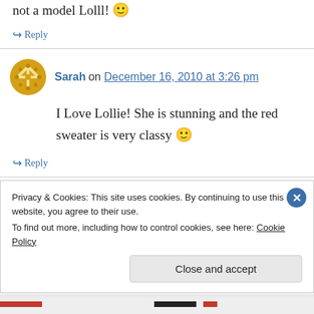not a model Lolll! 🙂
↪ Reply
Sarah on December 16, 2010 at 3:26 pm
I Love Lollie! She is stunning and the red sweater is very classy 🙂
↪ Reply
Flash and Ollie on December 16, 2010 at 4:08 pm
Privacy & Cookies: This site uses cookies. By continuing to use this website, you agree to their use.
To find out more, including how to control cookies, see here: Cookie Policy
Close and accept